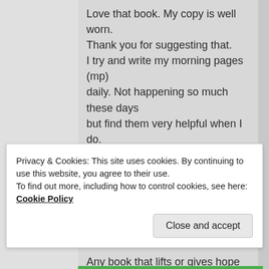Love that book. My copy is well worn. Thank you for suggesting that. I try and write my morning pages (mp) daily. Not happening so much these days but find them very helpful when I do. Sometimes I write them at night before bed so for me they are anytime pages. I use a fountain pen to write too. It's a good habit.
Any book that lifts or gives hope is a book to help deal with depression.
Today sleeping all day apart from lunch . I think my body needs it. Going with the flow
Privacy & Cookies: This site uses cookies. By continuing to use this website, you agree to their use.
To find out more, including how to control cookies, see here: Cookie Policy